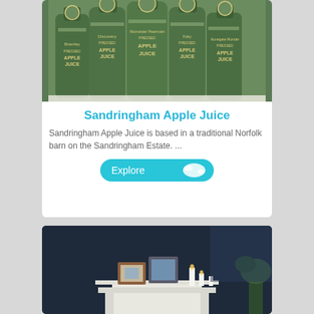[Figure (photo): Green glass bottles of Sandringham Apple Juice varieties (Bramley, Discovery, Worcester Pearmain, Katy, Nonegate Wonder) arranged together on a white background]
Sandringham Apple Juice
Sandringham Apple Juice is based in a traditional Norfolk barn on the Sandringham Estate.  ...
[Figure (other): Explore button with cyan background and white blob/map icon]
[Figure (photo): Dark navy room interior with white fireplace mantel, framed pictures, and white candles]